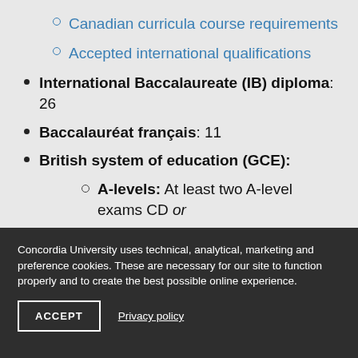Canadian curricula course requirements
Accepted international qualifications
International Baccalaureate (IB) diploma: 26
Baccalauréat français: 11
British system of education (GCE):
A-levels: At least two A-level exams CD or
AS-levels: At least 4 AS-level exams with
Concordia University uses technical, analytical, marketing and preference cookies. These are necessary for our site to function properly and to create the best possible online experience.
ACCEPT
Privacy policy